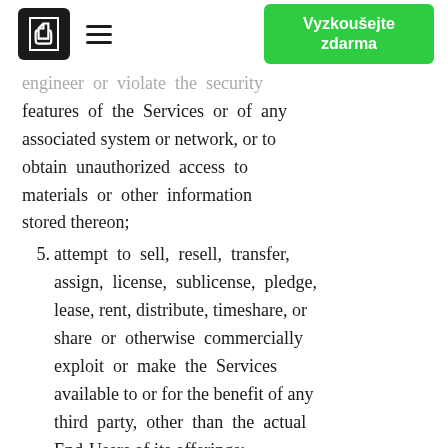Vyzkoušejte zdarma
engineer or violate the security features of the Services or of any associated system or network, or to obtain unauthorized access to materials or other information stored thereon;
5. attempt to sell, resell, transfer, assign, license, sublicense, pledge, lease, rent, distribute, timeshare, or share or otherwise commercially exploit or make the Services available to or for the benefit of any third party, other than the actual End-Users of its offerings;
6. attempt to interfere with, or disrupt